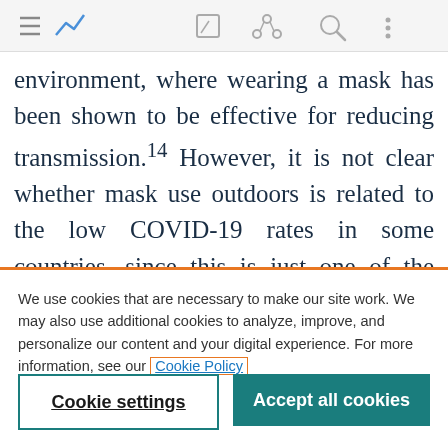[Browser toolbar with menu, chart, edit, share, search, and more icons]
environment, where wearing a mask has been shown to be effective for reducing transmission.14 However, it is not clear whether mask use outdoors is related to the low COVID-19 rates in some countries, since this is just one of the many measures applied in places where there are excellent epidemiological
We use cookies that are necessary to make our site work. We may also use additional cookies to analyze, improve, and personalize our content and your digital experience. For more information, see our Cookie Policy
Cookie settings
Accept all cookies